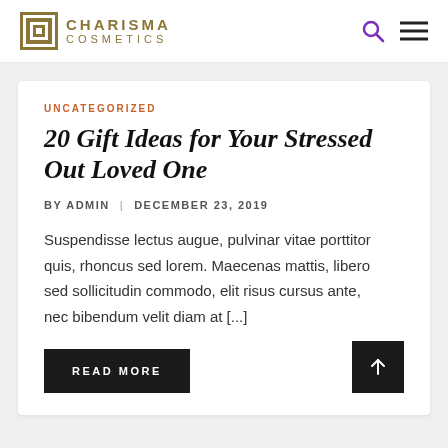CHARISMA COSMETICS
UNCATEGORIZED
20 Gift Ideas for Your Stressed Out Loved One
BY ADMIN | DECEMBER 23, 2019
Suspendisse lectus augue, pulvinar vitae porttitor quis, rhoncus sed lorem. Maecenas mattis, libero sed sollicitudin commodo, elit risus cursus ante, nec bibendum velit diam at [...]
READ MORE